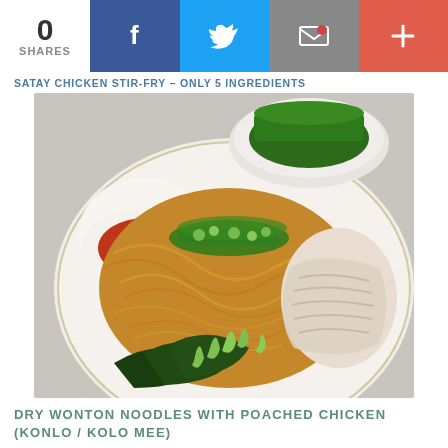0 SHARES
SATAY CHICKEN STIR-FRY - ONLY 5 INGREDIENTS
[Figure (photo): A plate of dry wonton noodles topped with green onions and surrounded by bok choy and poached chicken, with a small bowl of chili dipping sauce on the side. A second bowl of chopped green onions is visible in the background.]
DRY WONTON NOODLES WITH POACHED CHICKEN (KONLO / KOLO MEE)